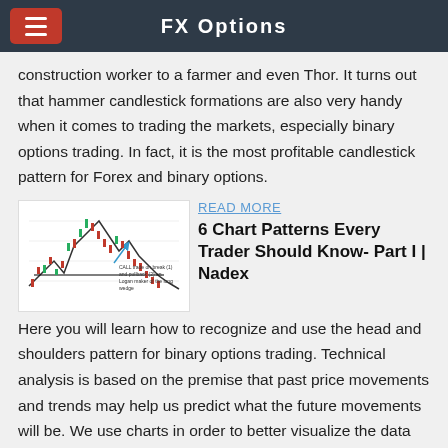FX Options
construction worker to a farmer and even Thor. It turns out that hammer candlestick formations are also very handy when it comes to trading the markets, especially binary options trading. In fact, it is the most profitable candlestick pattern for Forex and binary options.
[Figure (screenshot): Candlestick chart showing head and shoulders pattern with CALL trade annotations]
READ MORE
6 Chart Patterns Every Trader Should Know- Part I | Nadex
Here you will learn how to recognize and use the head and shoulders pattern for binary options trading. Technical analysis is based on the premise that past price movements and trends may help us predict what the future movements will be. We use charts in order to better visualize the data and identify these patterns.